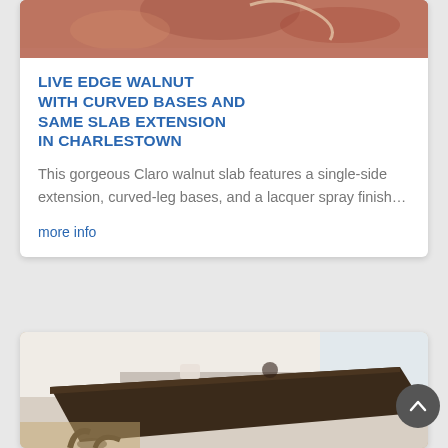[Figure (photo): Partial top view of a decorative rug with warm red and earth tones, cropped at top of card]
LIVE EDGE WALNUT WITH CURVED BASES AND SAME SLAB EXTENSION IN CHARLESTOWN
This gorgeous Claro walnut slab features a single-side extension, curved-leg bases, and a lacquer spray finish…
more info
[Figure (photo): Dark walnut dining table with curved bases in a modern kitchen setting, viewed from corner angle]